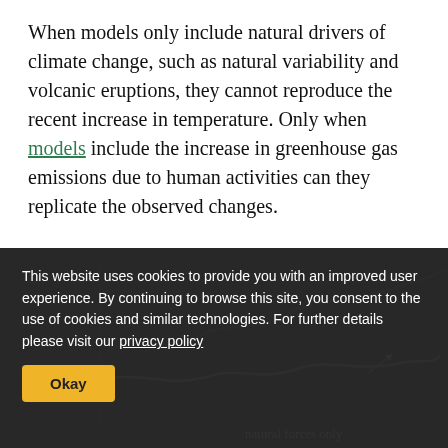When models only include natural drivers of climate change, such as natural variability and volcanic eruptions, they cannot reproduce the recent increase in temperature. Only when models include the increase in greenhouse gas emissions due to human activities can they replicate the observed changes.
This website uses cookies to provide you with an improved user experience. By continuing to browse this site, you consent to the use of cookies and similar technologies. For further details please visit our privacy policy
[Figure (line-chart): Partially visible line chart showing temperature change with curves labeled 'natural forces only', shown in dark background behind cookie consent overlay]